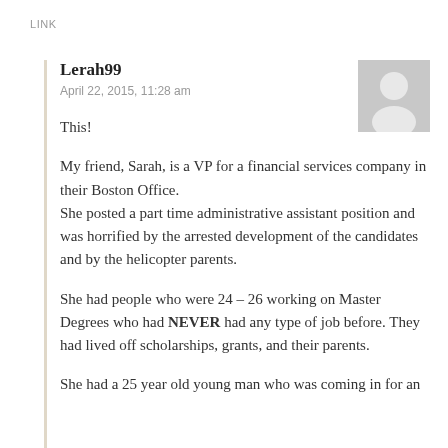LINK
Lerah99
April 22, 2015, 11:28 am
This!
My friend, Sarah, is a VP for a financial services company in their Boston Office.
She posted a part time administrative assistant position and was horrified by the arrested development of the candidates and by the helicopter parents.
She had people who were 24 – 26 working on Master Degrees who had NEVER had any type of job before. They had lived off scholarships, grants, and their parents.
She had a 25 year old young man who was coming in for an